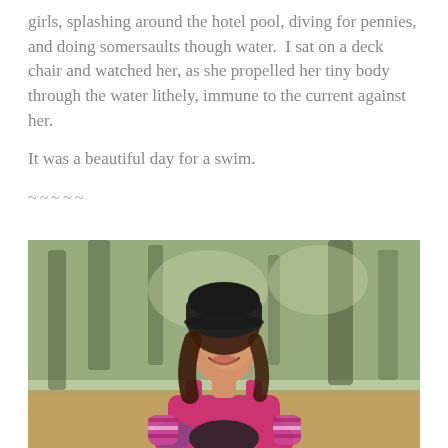girls, splashing around the hotel pool, diving for pennies, and doing somersaults though water.  I sat on a deck chair and watched her, as she propelled her tiny body through the water lithely, immune to the current against her.

It was a beautiful day for a swim.

~~~~~
[Figure (photo): A woman with brown hair wearing a black beanie hat and a pink/magenta sleeveless athletic top with striped gloves, sitting outdoors in a forest/wooded setting, looking upward and smiling. Blurred green and brown trees visible in the background.]